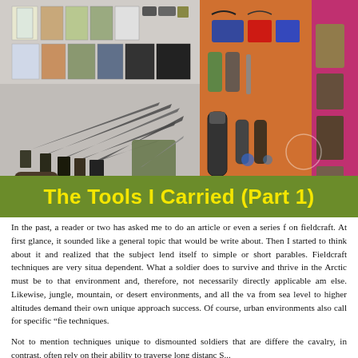[Figure (photo): Collage photo showing survival/fieldcraft tools: left side shows various knives and military field manuals/notebooks; right side shows an orange roll-out kit with flashlights, batteries, and electronic gear, and a pink/magenta kit on the far right.]
The Tools I Carried (Part 1)
In the past, a reader or two has asked me to do an article or even a series f on fieldcraft. At first glance, it sounded like a general topic that would be write about. Then I started to think about it and realized that the subject lend itself to simple or short parables. Fieldcraft techniques are very situa dependent. What a soldier does to survive and thrive in the Arctic must be to that environment and, therefore, not necessarily directly applicable am else. Likewise, jungle, mountain, or desert environments, and all the va from sea level to higher altitudes demand their own unique approach success. Of course, urban environments also call for specific "fie techniques.
Not to mention techniques unique to dismounted soldiers that are differe the cavalry, in contrast, often rely on their ability to traverse long distanc S...